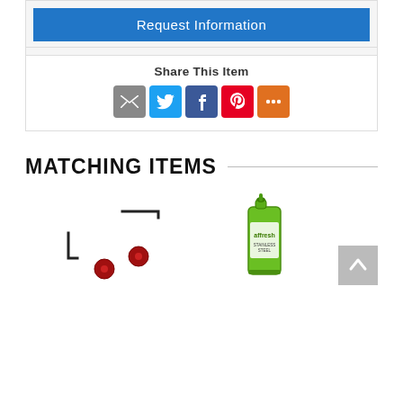[Figure (screenshot): Blue 'Request Information' button]
Share This Item
[Figure (infographic): Social share icons: email (grey), Twitter (blue), Facebook (dark blue), Pinterest (red), More (orange)]
MATCHING ITEMS
[Figure (photo): Product image: metal brackets and red plastic clips/buttons on white background]
[Figure (photo): Product image: affresh spray bottle cleaner (green) on white background]